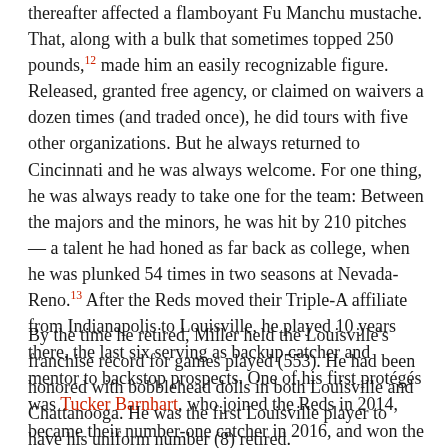thereafter affected a flamboyant Fu Manchu mustache. That, along with a bulk that sometimes topped 250 pounds,12 made him an easily recognizable figure. Released, granted free agency, or claimed on waivers a dozen times (and traded once), he did tours with five other organizations. But he always returned to Cincinnati and he was always welcome. For one thing, he was always ready to take one for the team: Between the majors and the minors, he was hit by 210 pitches — a talent he had honed as far back as college, when he was plunked 54 times in two seasons at Nevada-Reno.13 After the Reds moved their Triple-A affiliate from Indianapolis to Louisville, he played 10 years there, the last six serving as backup catcher and mentor to backstop prospects. One of his first protégés was Tucker Barnhart, who joined the Reds in 2014, became their number-one catcher in 2016, and won the Gold Glove in 2017.
By the time he retired, Miller held the Louisville's franchise record for games played (553). He had been honored with bobblehead dolls in both Louisville and Chattanooga. He was the first Louisville player to have his uniform number (8) retired.